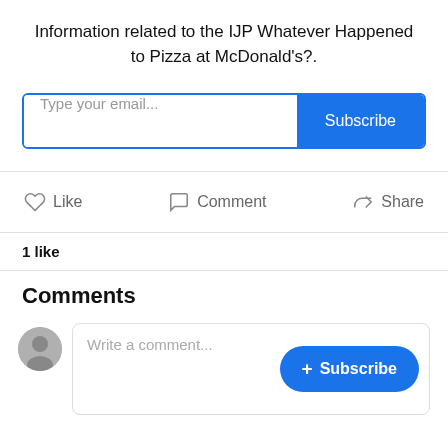Information related to the IJP Whatever Happened to Pizza at McDonald's?.
Type your email...
Subscribe
Like
Comment
Share
1 like
Comments
Write a comment...
+ Subscribe